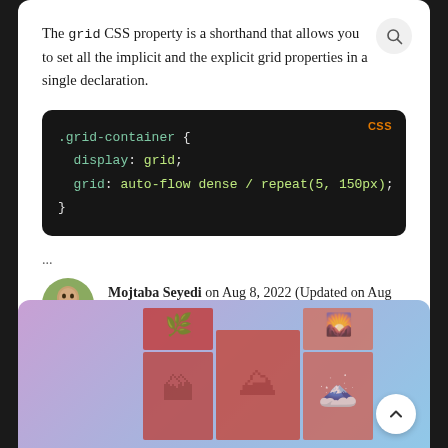The grid CSS property is a shorthand that allows you to set all the implicit and the explicit grid properties in a single declaration.
[Figure (screenshot): Dark code block showing CSS: .grid-container { display: grid; grid: auto-flow dense / repeat(5, 150px); } with 'CSS' label in orange top-right]
...
Mojtaba Seyedi on Aug 8, 2022 (Updated on Aug 12, 2022)
[Figure (photo): Grid of nature/rock photos with reddish color tint displayed in a CSS grid layout on a gradient purple-blue background]